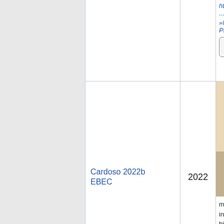| Citation | Year | Details |
| --- | --- | --- |
| https://doi.or... »MitoFit Prep... Watch the p... |  |  |
| Cardoso 2022b EBEC | 2022 | [photo] medium in hi... living and pe... |
| Lerink 2022 Abstract Bioblast | 2022 | [photo] Conference https://doi.or... Watch the p... |